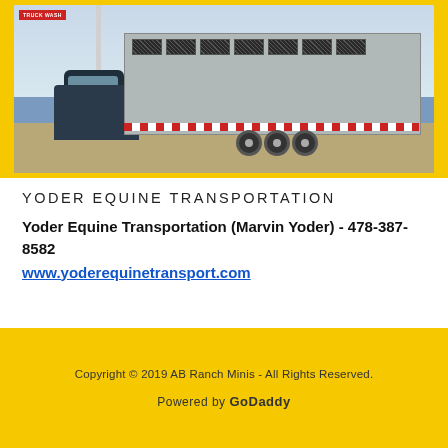[Figure (photo): A large horse/livestock trailer being pulled by a dark pickup truck, photographed at a truck wash location. The trailer is silver/grey with dark window vents along the top, red and white reflective striping along the bottom, and dual axle wheels.]
YODER EQUINE TRANSPORTATION
Yoder Equine Transportation (Marvin Yoder) - 478-387-8582
www.yoderequinetransport.com
Copyright © 2019 AB Ranch Minis - All Rights Reserved.
Powered by GoDaddy